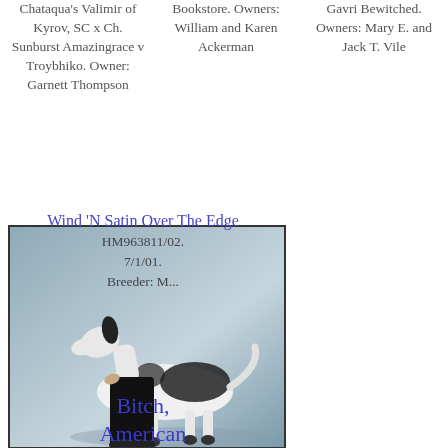Chataqua's Valimir of Kyrov, SC x Ch. Sunburst Amazingrace v Troybhiko. Owner: Garnett Thompson
Bookstore. Owners: William and Karen Ackerman
Gavri Bewitched. Owners: Mary E. and Jack T. Vile
Bitch, American Bred - 4th
[Figure (photo): Black and white dog (whippet or greyhound breed) being shown by a handler in black pants. Dog is white with black patches, standing in a show pose against a blue-grey background.]
Wind 'N Satin Over The Edge HM963811/02. 7/1/01. Breeder: M...